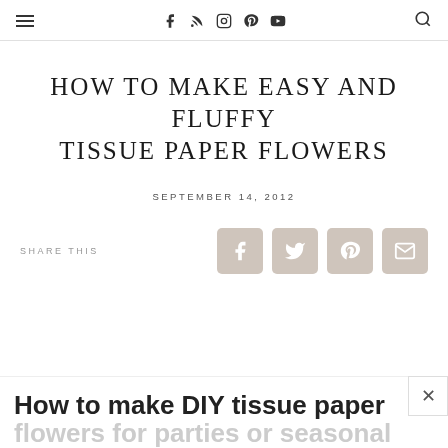≡ f RSS Instagram Pinterest YouTube 🔍
HOW TO MAKE EASY AND FLUFFY TISSUE PAPER FLOWERS
SEPTEMBER 14, 2012
SHARE THIS
How to make DIY tissue paper flowers for parties or seasonal